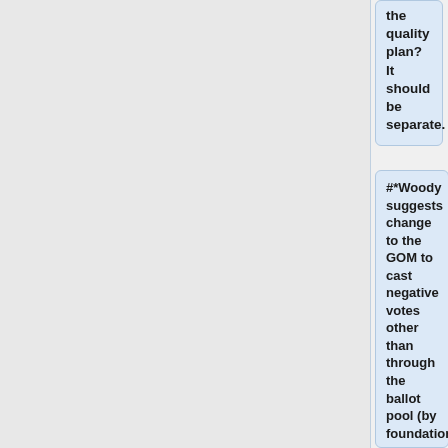the quality plan? It should be separate.
#*Woody suggests change to the GOM to cast negative votes other than through the ballot pool (by foundation or methodology groups). Helen asks are we authorizing individuals or the cochairs of groups, or as a committee vote? Woody suggests key